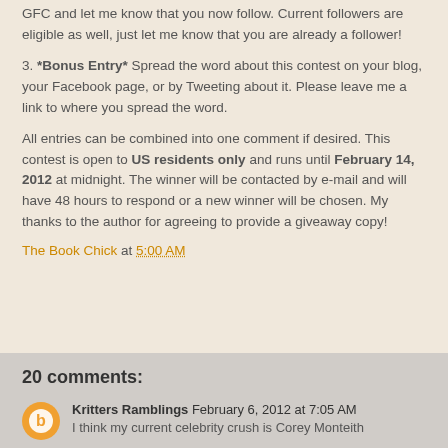GFC and let me know that you now follow. Current followers are eligible as well, just let me know that you are already a follower!
3. *Bonus Entry* Spread the word about this contest on your blog, your Facebook page, or by Tweeting about it. Please leave me a link to where you spread the word.
All entries can be combined into one comment if desired. This contest is open to US residents only and runs until February 14, 2012 at midnight. The winner will be contacted by e-mail and will have 48 hours to respond or a new winner will be chosen. My thanks to the author for agreeing to provide a giveaway copy!
The Book Chick at 5:00 AM
20 comments:
Kritters Ramblings February 6, 2012 at 7:05 AM
I think my current celebrity crush is Corey Monteith